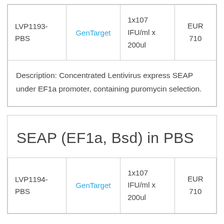| Product | Supplier | Quantity | Price |
| --- | --- | --- | --- |
| LVP1193-PBS | GenTarget | 1x107 IFU/ml x 200ul | EUR 710 |
| Description: Concentrated Lentivirus express SEAP under EF1a promoter, containing puromycin selection. |  |  |  |
SEAP (EF1a, Bsd) in PBS
| Product | Supplier | Quantity | Price |
| --- | --- | --- | --- |
| LVP1194-PBS | GenTarget | 1x107 IFU/ml x 200ul | EUR 710 |